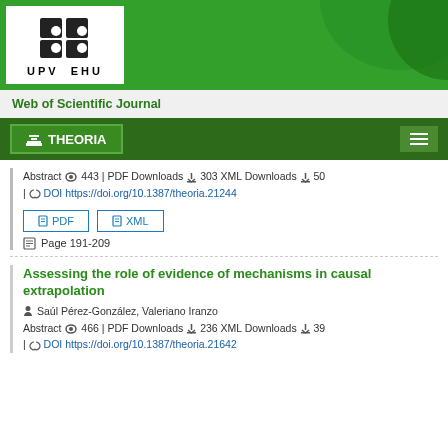[Figure (logo): UPV EHU university logo with puzzle piece icon, white box on green background]
Web of Scientific Journal
🏛 THEORIA
Abstract 👁 443 | PDF Downloads ⬇ 303 XML Downloads ⬇ 50 | 🔗DOI https://doi.org/10.1387/theoria.21244
PDF
XML
Page 191-209
Assessing the role of evidence of mechanisms in causal extrapolation
Saúl Pérez-González, Valeriano Iranzo
Abstract 👁 466 | PDF Downloads ⬇ 236 XML Downloads ⬇ 39 | 🔗DOI https://doi.org/10.1387/theoria.21642